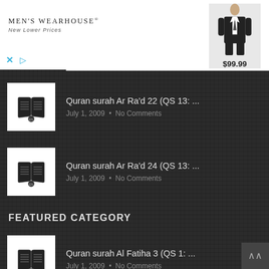[Figure (photo): Men's Wearhouse advertisement banner with logo, suit-wearing man figure, and $99.99 price tag]
Quran surah Ar Ra'd 22 (QS 13: ...
July 1, 2009 • No Comments
Quran surah Ar Ra'd 24 (QS 13: ...
July 1, 2009 • No Comments
FEATURED CATEGORY
Quran surah Al Fatiha 3 (QS 1: ...
July 1, 2009 • No Comments
Quran surah Al Fatiha 4 (QS 1: ...